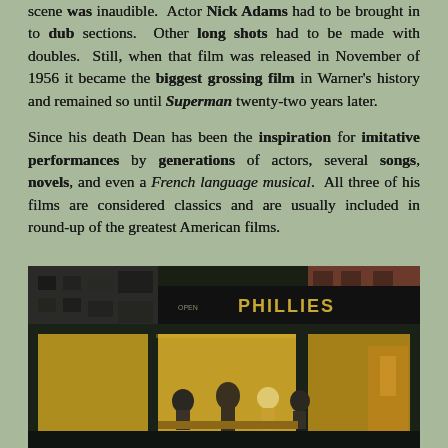scene was inaudible.  Actor Nick Adams had to be brought in to dub sections.  Other long shots had to be made with doubles.  Still, when that film was released in November of 1956 it became the biggest grossing film in Warner's history and remained so until Superman twenty-two years later.
Since his death Dean has been the inspiration for imitative performances by generations of actors, several songs, novels, and even a French language musical.  All three of his films are considered classics and are usually included in round-up of the greatest American films.
[Figure (photo): A nighttime diner scene resembling Edward Hopper's Nighthawks painting, showing a diner with large windows lit from within, figures seated at the counter, with a sign reading 'PHILLIES' visible above.]